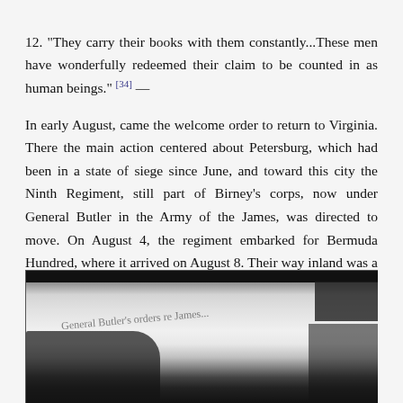12. "They carry their books with them constantly...These men have wonderfully redeemed their claim to be counted in as human beings." [34]
In early August, came the welcome order to return to Virginia. There the main action centered about Petersburg, which had been in a state of siege since June, and toward this city the Ninth Regiment, still part of Birney's corps, now under General Butler in the Army of the James, was directed to move. On August 4, the regiment embarked for Bermuda Hundred, where it arrived on August 8. Their way inland was a hard fought one. Severe brushes occurred at various Confederate breastworks and other fortifications. [35]
[Figure (photo): Black and white photograph showing what appears to be a document or sign with handwritten text, partially obscured by dark areas on left, right, and top edges.]